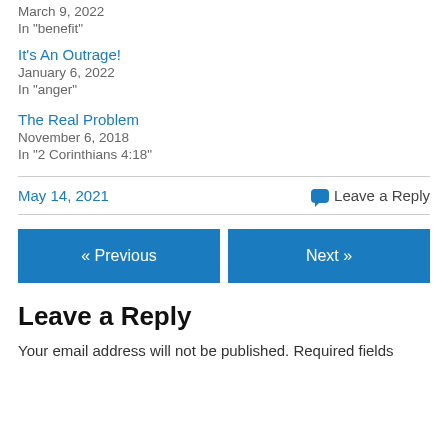March 9, 2022
In "benefit"
It's An Outrage!
January 6, 2022
In "anger"
The Real Problem
November 6, 2018
In "2 Corinthians 4:18"
May 14, 2021    Leave a Reply
« Previous    Next »
Leave a Reply
Your email address will not be published. Required fields